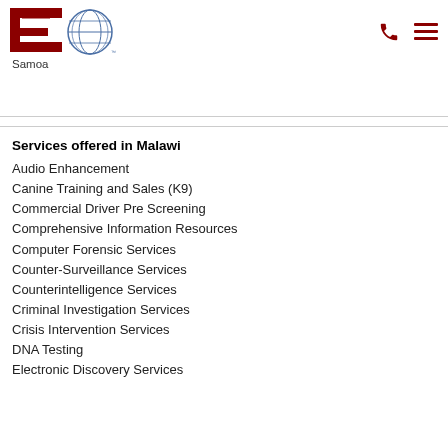[Figure (logo): ICS International Corporate Security logo with globe graphic]
Samoa
Services offered in Malawi
Audio Enhancement
Canine Training and Sales (K9)
Commercial Driver Pre Screening
Comprehensive Information Resources
Computer Forensic Services
Counter-Surveillance Services
Counterintelligence Services
Criminal Investigation Services
Crisis Intervention Services
DNA Testing
Electronic Discovery Services